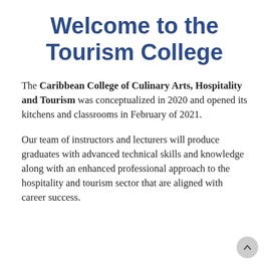Welcome to the Tourism College
The Caribbean College of Culinary Arts, Hospitality and Tourism was conceptualized in 2020 and opened its kitchens and classrooms in February of 2021.
Our team of instructors and lecturers will produce graduates with advanced technical skills and knowledge along with an enhanced professional approach to the hospitality and tourism sector that are aligned with career success.